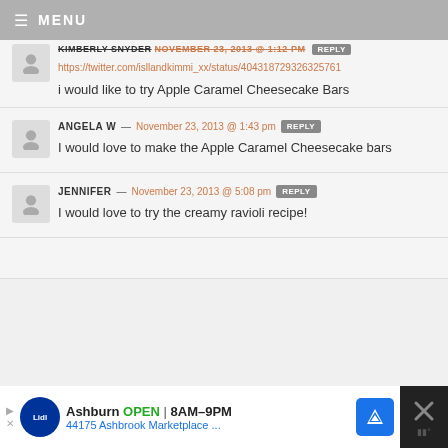MENU
https://twitter.com/isllandkimmi_xx/status/404318729326325761
i would like to try Apple Caramel Cheesecake Bars
ANGELA W — November 23, 2013 @ 1:43 pm REPLY
I would love to make the Apple Caramel Cheesecake bars
JENNIFER — November 23, 2013 @ 5:08 pm REPLY
I would love to try the creamy ravioli recipe!
[Figure (photo): Advertisement banner for Lidl store in Ashburn showing open hours 8AM-9PM and address 44175 Ashbrook Marketplace]